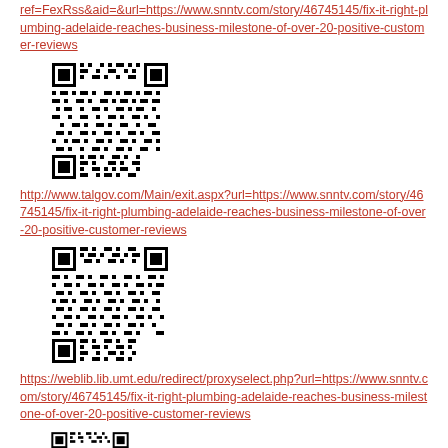ref=FexRss&aid=&url=https://www.snntv.com/story/46745145/fix-it-right-plumbing-adelaide-reaches-business-milestone-of-over-20-positive-customer-reviews
[Figure (other): QR code linking to fix-it-right-plumbing story on snntv.com]
http://www.talgov.com/Main/exit.aspx?url=https://www.snntv.com/story/46745145/fix-it-right-plumbing-adelaide-reaches-business-milestone-of-over-20-positive-customer-reviews
[Figure (other): QR code linking to fix-it-right-plumbing story via talgov redirect]
https://weblib.lib.umt.edu/redirect/proxyselect.php?url=https://www.snntv.com/story/46745145/fix-it-right-plumbing-adelaide-reaches-business-milestone-of-over-20-positive-customer-reviews
[Figure (other): QR code linking to fix-it-right-plumbing story via umt.edu proxy redirect (partial, cut off)]